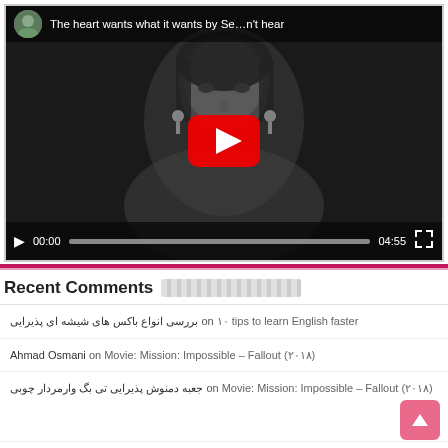[Figure (screenshot): YouTube video player showing a black-and-white music video. Title bar reads 'The heart wants what it wants by Se...n't hear'. A woman's face is shown in the video frame. A red YouTube play button is centered. Video controls show play button, time 00:00, progress bar, duration 04:55, and fullscreen icon.]
Recent Comments
بررسی انواع باکس های شیشه ای پذیرایی on ۱۰ tips to learn English faster
Ahmad Osmani on Movie: Mission: Impossible – Fallout (۲۰۱۸)
جعبه دمنوش پذیرایی تی بگ وارمردار چوبی on Movie: Mission: Impossible – Fallout (۲۰۱۸)